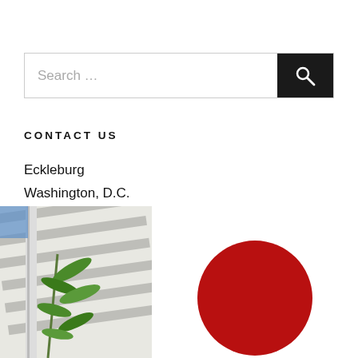[Figure (other): Search bar with text input field showing 'Search ...' placeholder and a dark search button with magnifying glass icon]
CONTACT US
Eckleburg
Washington, D.C.
Email Us
[Figure (photo): Photo of green leafy bamboo-like plant growing against a white wall with dramatic shadows]
[Figure (illustration): Large red circle on white background, resembling a logo or graphic element]